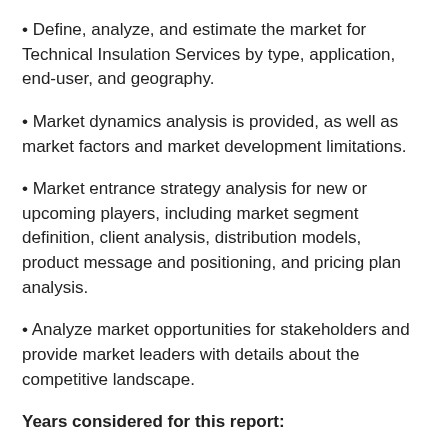Define, analyze, and estimate the market for Technical Insulation Services by type, application, end-user, and geography.
Market dynamics analysis is provided, as well as market factors and market development limitations.
Market entrance strategy analysis for new or upcoming players, including market segment definition, client analysis, distribution models, product message and positioning, and pricing plan analysis.
Analyze market opportunities for stakeholders and provide market leaders with details about the competitive landscape.
Years considered for this report:
Historical Year: 2016-2020